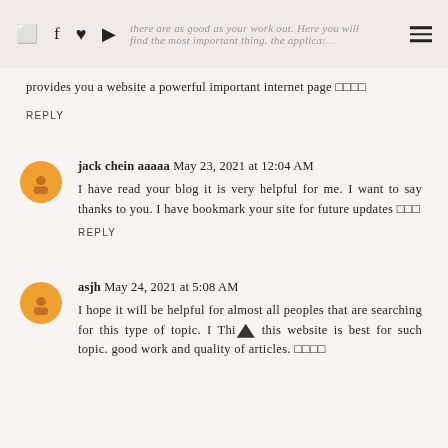there are as good as your work out. Here you will find the most important thing. the application provides you a website a powerful important internet page 🔲🔲🔲🔲
provides you a website a powerful important internet page 🔲🔲🔲🔲
REPLY
jack chein aaaaa May 23, 2021 at 12:04 AM
I have read your blog it is very helpful for me. I want to say thanks to you. I have bookmark your site for future updates 🔲🔲🔲
REPLY
asjh May 24, 2021 at 5:08 AM
I hope it will be helpful for almost all peoples that are searching for this type of topic. I Think this website is best for such topic. good work and quality of articles. 🔲🔲🔲🔲